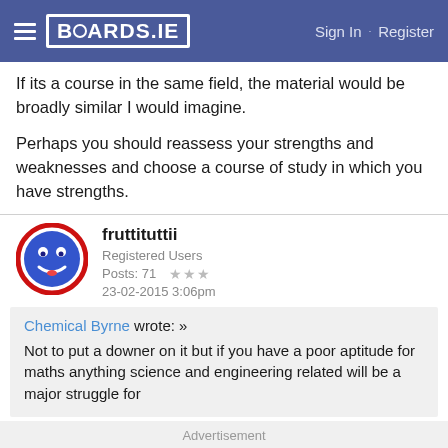BOARDS.IE  Sign In · Register
If its a course in the same field, the material would be broadly similar I would imagine.
Perhaps you should reassess your strengths and weaknesses and choose a course of study in which you have strengths.
fruttituttii
Registered Users
Posts: 71 ★★★
23-02-2015 3:06pm
Chemical Byrne wrote: »
Not to put a downer on it but if you have a poor aptitude for maths anything science and engineering related will be a major struggle for
Advertisement